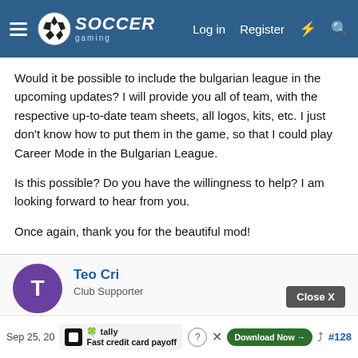Soccer Gaming — Log in | Register
Would it be possible to include the bulgarian league in the upcoming updates? I will provide you all of team, with the respective up-to-date team sheets, all logos, kits, etc. I just don't know how to put them in the game, so that I could play Career Mode in the Bulgarian League.
Is this possible? Do you have the willingness to help? I am looking forward to hear from you.
Once again, thank you for the beautiful mod!
COYG!
Teo Cri
Club Supporter
Sep 25, 20  Fast credit card payoff  Download Now  #128